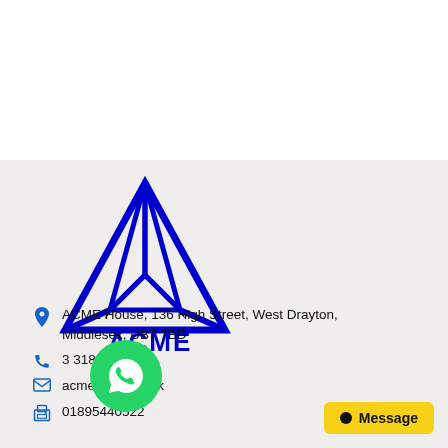[Figure (logo): ACME logo with blue triangle/arrow graphic above text 'ACME' and tagline 'We Secure Trust']
ACME House, 136 High Street, West Drayton, Middlesex, UB7 7BD
3 318 0990
acmecredit.co.uk
01895440522
[Figure (logo): WhatsApp green circle icon]
Message